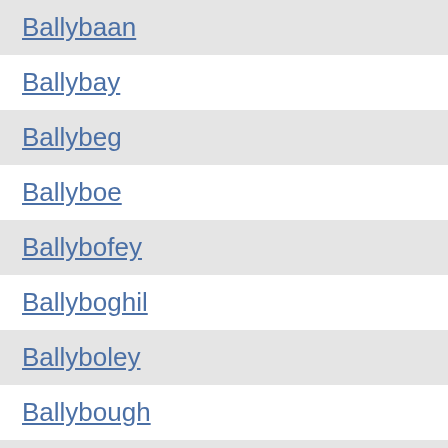Ballybaan
Ballybay
Ballybeg
Ballyboe
Ballybofey
Ballyboghil
Ballyboley
Ballybough